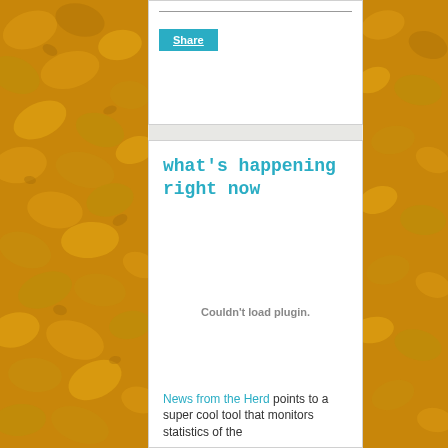[Figure (illustration): Golden/yellow corn chip or cereal flake texture background on left and right sides of page]
Share
what's happening right now
Couldn't load plugin.
News from the Herd points to a super cool tool that monitors statistics of the